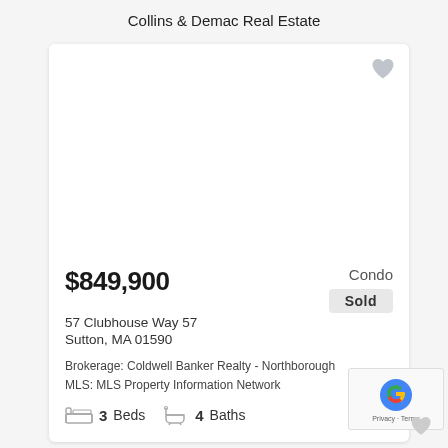Collins & Demac Real Estate
[Figure (photo): Property listing image area (blank/white) with heart favorite icon in top right]
$849,900
Condo
Sold
57 Clubhouse Way 57
Sutton, MA 01590
Brokerage: Coldwell Banker Realty - Northborough
MLS: MLS Property Information Network
3 Beds   4 Baths